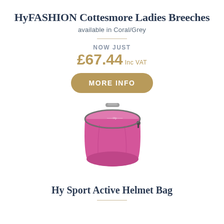HyFASHION Cottesmore Ladies Breeches
available in Coral/Grey
NOW JUST
£67.44 Inc VAT
MORE INFO
[Figure (photo): Pink/hot pink cylindrical helmet bag with grey zipper and grey handle on top, viewed from a slight angle above]
Hy Sport Active Helmet Bag